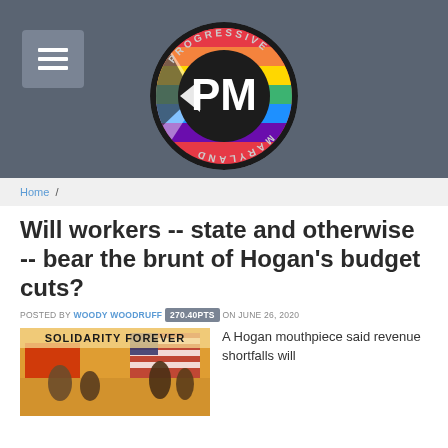Progressive Maryland
Home /
Will workers -- state and otherwise -- bear the brunt of Hogan's budget cuts?
POSTED BY WOODY WOODRUFF 270.40PTS ON JUNE 26, 2020
[Figure (photo): Solidarity Forever labor movement poster showing workers with flags]
A Hogan mouthpiece said revenue shortfalls will